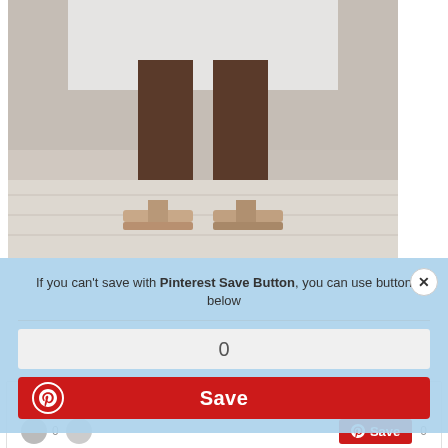[Figure (photo): Close-up photo of a person wearing a white crochet skirt and sandals, showing legs from mid-thigh down to feet on a light wooden surface]
If you can't save with Pinterest Save Button, you can use button below
0
Save
Best White Crochet Summer Dress
0
Save
0